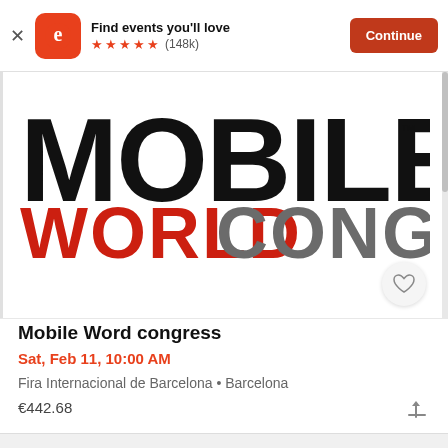[Figure (screenshot): Eventbrite app banner showing logo, 'Find events you'll love', 5 stars (148k), and Continue button]
[Figure (logo): Mobile World Congress logo with 'MOBILE' in black bold text and 'WORLD CONGRESS' below, WORLD in red and CONGRESS in gray]
Mobile Word congress
Sat, Feb 11, 10:00 AM
Fira Internacional de Barcelona • Barcelona
€442.68